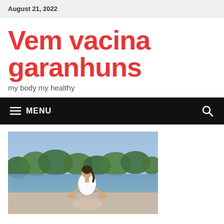August 21, 2022
Vem vacina garanhuns
my body my healthy
MENU
[Figure (photo): Woman meditating outdoors by a lake, eyes closed, sitting in lotus position, wearing a white top, with trees and blue sky in the background]